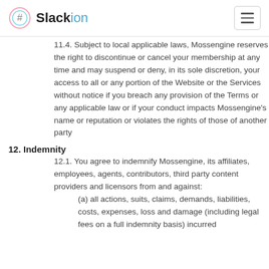Slackion
11.4. Subject to local applicable laws, Mossengine reserves the right to discontinue or cancel your membership at any time and may suspend or deny, in its sole discretion, your access to all or any portion of the Website or the Services without notice if you breach any provision of the Terms or any applicable law or if your conduct impacts Mossengine’s name or reputation or violates the rights of those of another party
12. Indemnity
12.1. You agree to indemnify Mossengine, its affiliates, employees, agents, contributors, third party content providers and licensors from and against:
(a) all actions, suits, claims, demands, liabilities, costs, expenses, loss and damage (including legal fees on a full indemnity basis) incurred